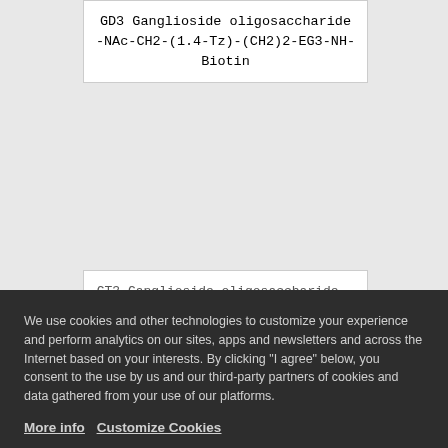GD3 Ganglioside oligosaccharide -NAc-CH2-(1.4-Tz)-(CH2)2-EG3-NH-Biotin
GT3 Ganglioside oligosaccharide -NAc-CH2-(1.4-Tz)-(CH2)2-EG3-NH-Biotin
We use cookies and other technologies to customize your experience and perform analytics on our sites, apps and newsletters and across the Internet based on your interests. By clicking "I agree" below, you consent to the use by us and our third-party partners of cookies and data gathered from your use of our platforms.
More info   Customize Cookies
REJECT ALL
I AGREE